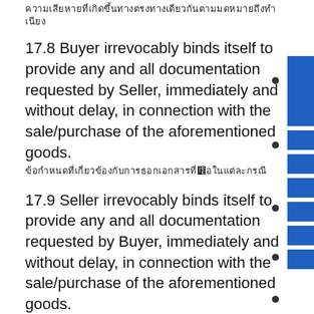[Thai text - continuation from previous page]
17.8 Buyer irrevocably binds itself to provide any and all documentation requested by Seller, immediately and without delay, in connection with the sale/purchase of the aforementioned goods.
[Thai translation of 17.8]
17.9 Seller irrevocably binds itself to provide any and all documentation requested by Buyer, immediately and without delay, in connection with the sale/purchase of the aforementioned goods.
[Thai translation of 17.9]
18. PROCEDURE AND TERMS [Thai]
18.1. The Buyer issues the Letter of Intent, notifying the banking details and providing soft authorization
[Thai translation of 18.1]